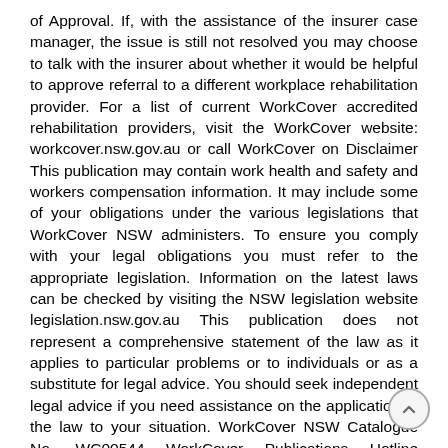of Approval. If, with the assistance of the insurer case manager, the issue is still not resolved you may choose to talk with the insurer about whether it would be helpful to approve referral to a different workplace rehabilitation provider. For a list of current WorkCover accredited rehabilitation providers, visit the WorkCover website: workcover.nsw.gov.au or call WorkCover on Disclaimer This publication may contain work health and safety and workers compensation information. It may include some of your obligations under the various legislations that WorkCover NSW administers. To ensure you comply with your legal obligations you must refer to the appropriate legislation. Information on the latest laws can be checked by visiting the NSW legislation website legislation.nsw.gov.au This publication does not represent a comprehensive statement of the law as it applies to particular problems or to individuals or as a substitute for legal advice. You should seek independent legal advice if you need assistance on the application of the law to your situation. WorkCover NSW Catalogue No. WC00544 WorkCover Publications Hotline WorkCover NSW, Donnison Street Gosford, NSW 2250 Locked Bag 2906, Lisarow, NSW 2252 WorkCover Assistance Service Websit...